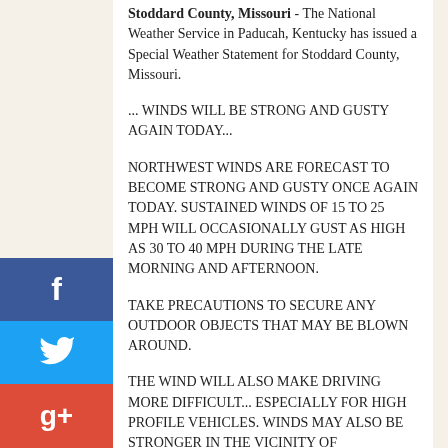Stoddard County, Missouri - The National Weather Service in Paducah, Kentucky has issued a Special Weather Statement for Stoddard County, Missouri.
... WINDS WILL BE STRONG AND GUSTY AGAIN TODAY...
NORTHWEST WINDS ARE FORECAST TO BECOME STRONG AND GUSTY ONCE AGAIN TODAY. SUSTAINED WINDS OF 15 TO 25 MPH WILL OCCASIONALLY GUST AS HIGH AS 30 TO 40 MPH DURING THE LATE MORNING AND AFTERNOON.
TAKE PRECAUTIONS TO SECURE ANY OUTDOOR OBJECTS THAT MAY BE BLOWN AROUND.
THE WIND WILL ALSO MAKE DRIVING MORE DIFFICULT... ESPECIALLY FOR HIGH PROFILE VEHICLES. WINDS MAY ALSO BE STRONGER IN THE VICINITY OF SCATTERED SHOWERS FORECAST TO DEVELOP DURING THE AFTERNOON.
[Figure (other): Social media share buttons: Facebook (blue), Twitter (light blue), Google+ (red)]